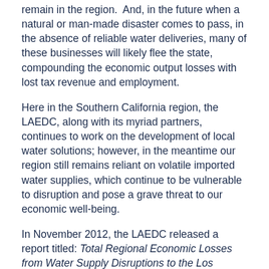remain in the region.  And, in the future when a natural or man-made disaster comes to pass, in the absence of reliable water deliveries, many of these businesses will likely flee the state, compounding the economic output losses with lost tax revenue and employment.
Here in the Southern California region, the LAEDC, along with its myriad partners, continues to work on the development of local water solutions; however, in the meantime our region still remains reliant on volatile imported water supplies, which continue to be vulnerable to disruption and pose a grave threat to our economic well-being.
In November 2012, the LAEDC released a report titled: Total Regional Economic Losses from Water Supply Disruptions to the Los Angeles County Economy. The report, conducted by a team of